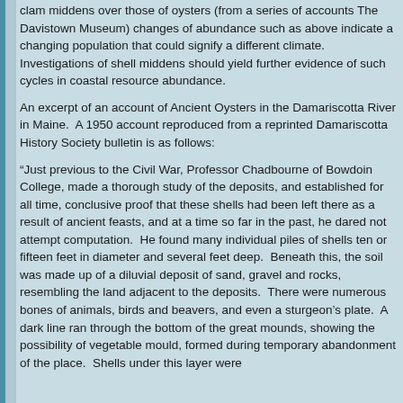clam middens over those of oysters (from a series of accounts The Davistown Museum) changes of abundance such as above indicate a changing population that could signify a different climate. Investigations of shell middens should yield further evidence of such cycles in coastal resource abundance.
An excerpt of an account of Ancient Oysters in the Damariscotta River in Maine. A 1950 account reproduced from a reprinted Damariscotta History Society bulletin is as follows:
“Just previous to the Civil War, Professor Chadbourne of Bowdoin College, made a thorough study of the deposits, and established for all time, conclusive proof that these shells had been left there as a result of ancient feasts, and at a time so far in the past, he dared not attempt computation. He found many individual piles of shells ten or fifteen feet in diameter and several feet deep. Beneath this, the soil was made up of a diluvial deposit of sand, gravel and rocks, resembling the land adjacent to the deposits. There were numerous bones of animals, birds and beavers, and even a sturgeon’s plate. A dark line ran through the bottom of the great mounds, showing the possibility of vegetable mould, formed during temporary abandonment of the place. Shells under this layer were